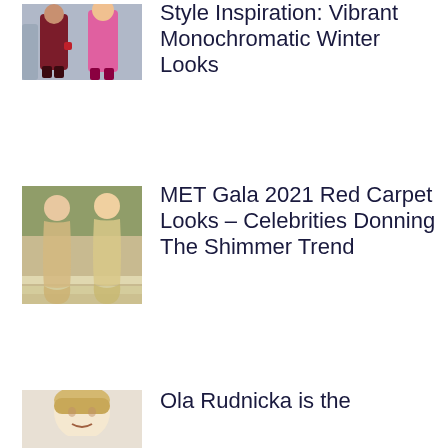[Figure (photo): Two women in monochromatic winter outfits walking outdoors — one in burgundy, one in bright pink]
Style Inspiration: Vibrant Monochromatic Winter Looks
[Figure (photo): Two women in shimmery gowns on steps at MET Gala 2021 red carpet]
MET Gala 2021 Red Carpet Looks – Celebrities Donning The Shimmer Trend
[Figure (photo): Close-up of a blonde woman's face and shoulders]
Ola Rudnicka is the